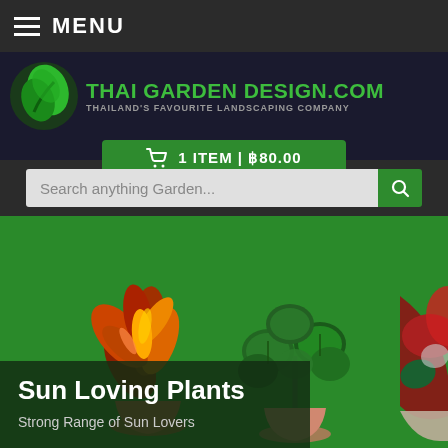MENU
[Figure (logo): Thai Garden Design logo with green leaf icon and site name THAI GARDEN DESIGN.COM, tagline THAILAND'S FAVOURITE LANDSCAPING COMPANY]
1 ITEM | ฿80.00
Search anything Garden...
[Figure (photo): Hero image of potted plants (croton, peperomia, and other plants) on a green background]
Sun Loving Plants
Strong Range of Sun Lovers